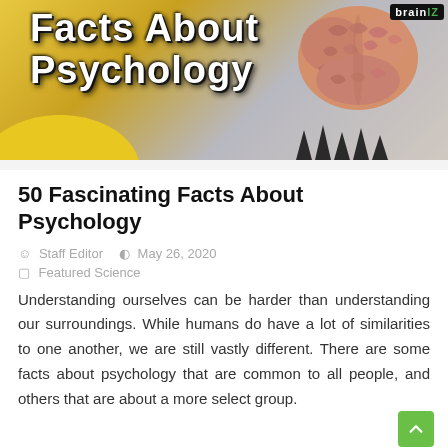[Figure (illustration): Banner image showing a 3D rendered human brain on a yellow and grey gradient background, with bold white text reading 'Facts About Psychology' and a 'brainz' logo in the top right corner. Black spike shapes appear at the bottom right.]
50 Fascinating Facts About Psychology
Staff Editor   May 26, 2020
Featured Science
Understanding ourselves can be harder than understanding our surroundings. While humans do have a lot of similarities to one another, we are still vastly different. There are some facts about psychology that are common to all people, and others that are about a more select group.